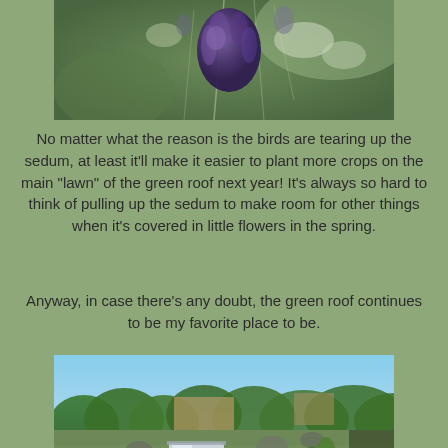[Figure (photo): Close-up photo of a purple flower bud or thistle with soft green background]
No matter what the reason is the birds are tearing up the sedum, at least it'll make it easier to plant more crops on the main "lawn" of the green roof next year!  It's always so hard to think of pulling up the sedum to make room for other things when it's covered in little flowers in the spring.
Anyway, in case there's any doubt, the green roof continues to be my favorite place to be.
[Figure (photo): Aerial view of a green roof garden with plants, planters, skylights, and urban buildings with trees visible in the background]